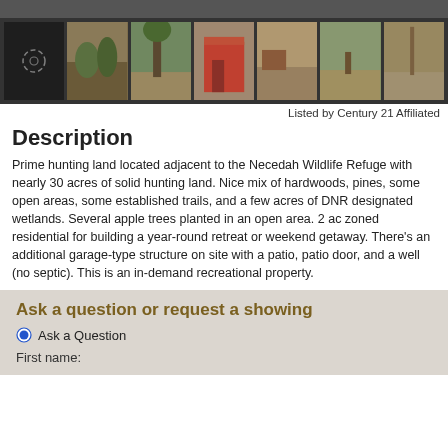[Figure (photo): Photo thumbnail strip showing 7 property images including forest, structures, and outdoor scenes for a hunting land listing]
Listed by Century 21 Affiliated
Description
Prime hunting land located adjacent to the Necedah Wildlife Refuge with nearly 30 acres of solid hunting land. Nice mix of hardwoods, pines, some open areas, some established trails, and a few acres of DNR designated wetlands. Several apple trees planted in an open area. 2 ac zoned residential for building a year-round retreat or weekend getaway. There’s an additional garage-type structure on site with a patio, patio door, and a well (no septic). This is an in-demand recreational property.
Ask a question or request a showing
Ask a Question
First name: